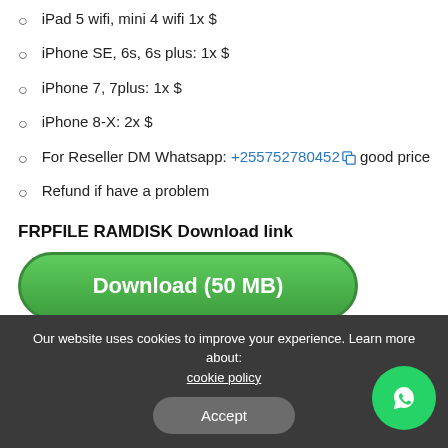iPad 5 wifi, mini 4 wifi 1x $
iPhone SE, 6s, 6s plus: 1x $
iPhone 7, 7plus: 1x $
iPhone 8-X: 2x $
For Reseller DM Whatsapp: +255752780452 good price
Refund if have a problem
FRPFILE RAMDISK Download link
[Figure (other): Green download button labeled 'Download (50 MB)']
Using the FRPFILE RAMDISK V2 Tool, how can you bypass a disabled passcode?
Our website uses cookies to improve your experience. Learn more about: cookie policy
Accept